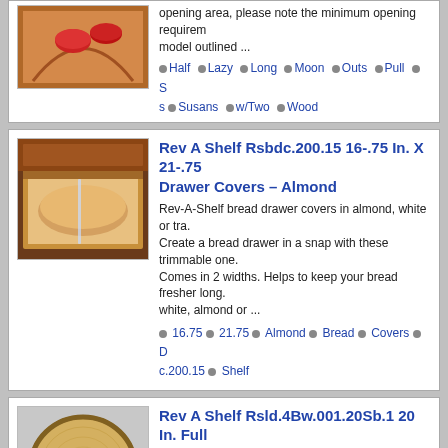[Figure (photo): Lazy susan corner cabinet shelf with red bowls, partial top view]
opening area, please note the minimum opening requirements for the model outlined ...
Half • Lazy • Long • Moon • Outs • Pull • S s • Susans • w/Two • Wood
[Figure (photo): Rev-A-Shelf bread drawer with bread inside a wooden drawer with clear divider]
Rev A Shelf Rsbdc.200.15 16-.75 In. X 21-.75 Drawer Covers – Almond
Rev-A-Shelf bread drawer covers in almond, white or tra. Create a bread drawer in a snap with these trimmable one. Comes in 2 widths. Helps to keep your bread fresher long. white, almond or ...
16.75 • 21.75 • Almond • Bread • Covers • D c.200.15 • Shelf
[Figure (photo): Round wooden lazy susan shelf disc, light wood color, isolated on gray background]
Rev A Shelf Rsld.4Bw.001.20Sb.1 20 In. Full Banded Wood Bearing
Banded Wood Round susan shelves with pre-mounted sw. thick continuous surrounds are doweled and glued. Botto. thick plywoo. Steel ball bearing swivel premounted to bo. Not designed for use with ...
Banded • Bearing • Circle • Full • Rsld.4Bw.00 helf • Wood
Page 1 of 1